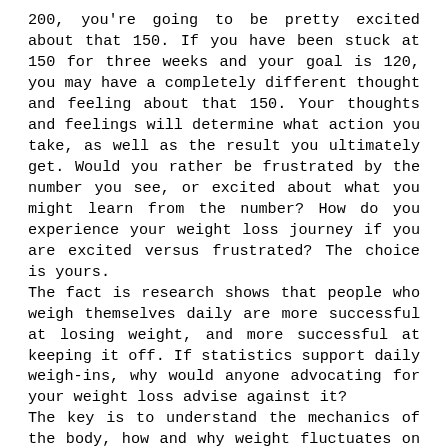200, you're going to be pretty excited about that 150.  If you have been stuck at 150 for three weeks and your goal is 120, you may have a completely different thought and feeling about that 150.  Your thoughts and feelings will determine what action you take, as well as the result you ultimately get.  Would you rather be frustrated by the number you see, or excited about what you might learn from the number?  How do you experience your weight loss journey if you are excited versus frustrated?  The choice is yours.
The fact is research shows that people who weigh themselves daily are more successful at losing weight, and more successful at keeping it off.  If statistics support daily weigh-ins, why would anyone advocating for your weight loss advise against it?
The key is to understand the mechanics of the body, how and why weight fluctuates on a daily basis, and to re-program your brain to have a different thought about the number on the scale.  Instead of the number meaning